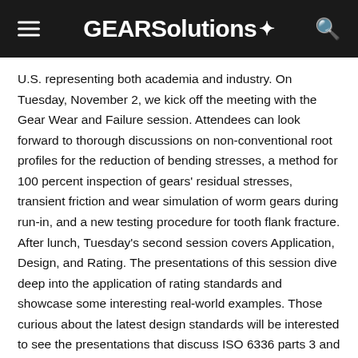GEARSolutions
U.S. representing both academia and industry. On Tuesday, November 2, we kick off the meeting with the Gear Wear and Failure session. Attendees can look forward to thorough discussions on non-conventional root profiles for the reduction of bending stresses, a method for 100 percent inspection of gears' residual stresses, transient friction and wear simulation of worm gears during run-in, and a new testing procedure for tooth flank fracture.
After lunch, Tuesday's second session covers Application, Design, and Rating. The presentations of this session dive deep into the application of rating standards and showcase some interesting real-world examples. Those curious about the latest design standards will be interested to see the presentations that discuss ISO 6336 parts 3 and 6. Bevel